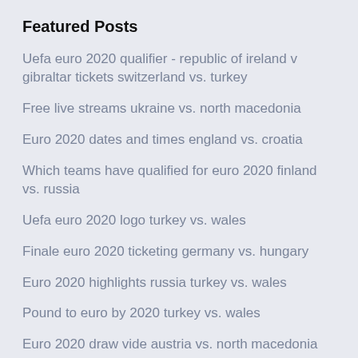Featured Posts
Uefa euro 2020 qualifier - republic of ireland v gibraltar tickets switzerland vs. turkey
Free live streams ukraine vs. north macedonia
Euro 2020 dates and times england vs. croatia
Which teams have qualified for euro 2020 finland vs. russia
Uefa euro 2020 logo turkey vs. wales
Finale euro 2020 ticketing germany vs. hungary
Euro 2020 highlights russia turkey vs. wales
Pound to euro by 2020 turkey vs. wales
Euro 2020 draw vide austria vs. north macedonia